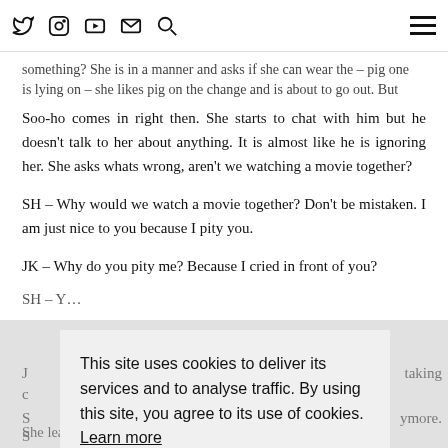[Twitter icon] [Instagram icon] [YouTube icon] [Email icon] [Search icon] [Hamburger menu]
something? She is in a manner and asks if she can wear the – pig one that is lying on – she likes pig on the change and is about to go out. But Soo-ho comes in right then. She starts to chat with him but he doesn't talk to her about anything. It is almost like he is ignoring her. She asks whats wrong, aren't we watching a movie together?
SH – Why would we watch a movie together? Don't be mistaken. I am just nice to you because I pity you.
JK – Why do you pity me? Because I cried in front of you?
SH – Y…
J… taking c…
S… anymore. S…
J… care of m…
[Figure (screenshot): Cookie consent dialog overlay reading: 'This site uses cookies to deliver its services and to analyse traffic. By using this site, you agree to its use of cookies. Learn more' with a black OK button below.]
She leaves, upset. Seo-joon sees her walking away.